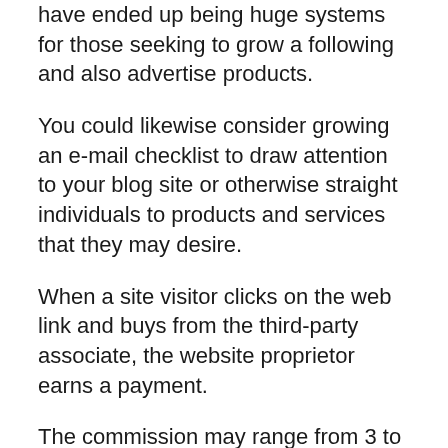have ended up being huge systems for those seeking to grow a following and also advertise products.
You could likewise consider growing an e-mail checklist to draw attention to your blog site or otherwise straight individuals to products and services that they may desire.
When a site visitor clicks on the web link and buys from the third-party associate, the website proprietor earns a payment.
The commission may range from 3 to 7 percent, so it will likely take significant web traffic to your website to generate significant earnings. But if you can grow your adhering to or have a more profitable specific niche